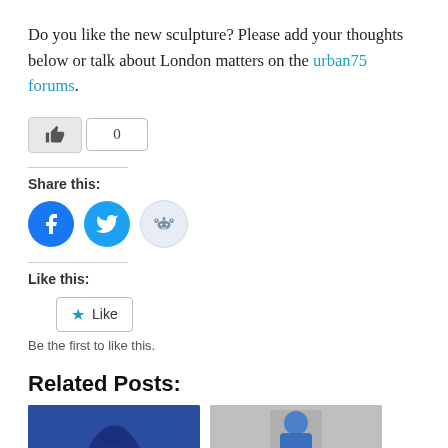Do you like the new sculpture? Please add your thoughts below or talk about London matters on the urban75 forums.
[Figure (other): Like button widget with thumbs-up icon and count of 0]
Share this:
[Figure (other): Social share icons: Facebook (blue circle), Twitter (blue circle), Reddit (light blue circle)]
Like this:
[Figure (other): Like button widget with star icon and 'Like' label]
Be the first to like this.
Related Posts:
[Figure (photo): Two thumbnail images for related posts: one with blue background showing a dark silhouette figure, one with gray/beige background showing a person in blue hoodie]